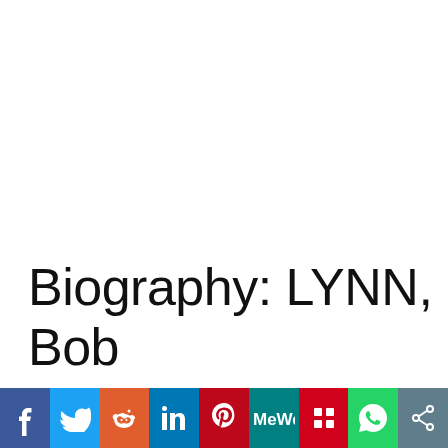Biography: LYNN, Bob
[Figure (infographic): Social media sharing bar with icons for Facebook, Twitter, Reddit, LinkedIn, Pinterest, MeWe, Mix, WhatsApp, and a share icon]